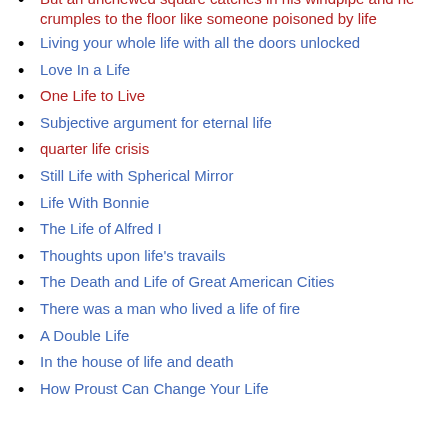KISS and KICK principles
But an unchewed square catches in his windpipe and he crumples to the floor like someone poisoned by life
Living your whole life with all the doors unlocked
Love In a Life
One Life to Live
Subjective argument for eternal life
quarter life crisis
Still Life with Spherical Mirror
Life With Bonnie
The Life of Alfred I
Thoughts upon life's travails
The Death and Life of Great American Cities
There was a man who lived a life of fire
A Double Life
In the house of life and death
How Proust Can Change Your Life